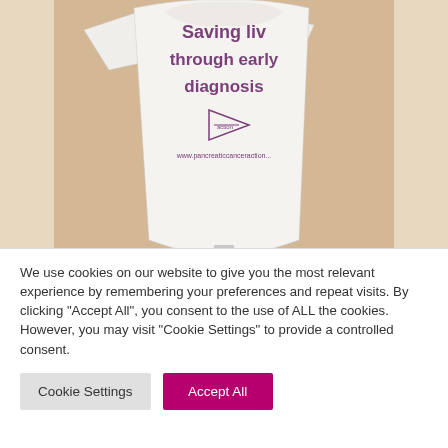[Figure (photo): A white t-shirt on a mannequin/stand displaying text 'Saving lives through early diagnosis' with a Pancreatic Cancer Action logo and website URL www.pancreaticcanceraction on the back of the shirt.]
We use cookies on our website to give you the most relevant experience by remembering your preferences and repeat visits. By clicking "Accept All", you consent to the use of ALL the cookies. However, you may visit "Cookie Settings" to provide a controlled consent.